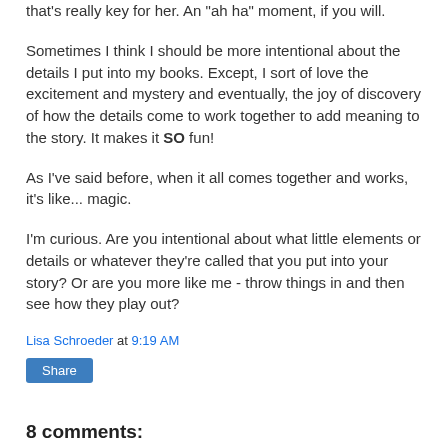that's really key for her. An "ah ha" moment, if you will.
Sometimes I think I should be more intentional about the details I put into my books. Except, I sort of love the excitement and mystery and eventually, the joy of discovery of how the details come to work together to add meaning to the story. It makes it SO fun!
As I've said before, when it all comes together and works, it's like... magic.
I'm curious. Are you intentional about what little elements or details or whatever they're called that you put into your story? Or are you more like me - throw things in and then see how they play out?
Lisa Schroeder at 9:19 AM
Share
8 comments: